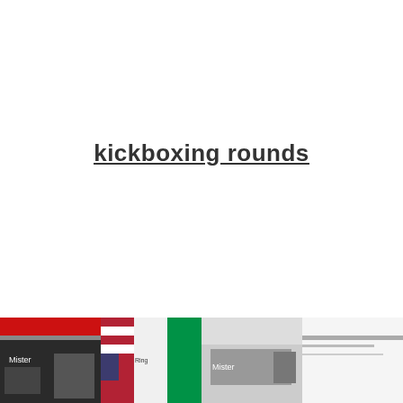kickboxing rounds
[Figure (photo): Four thumbnail photos at the bottom of the page showing kickboxing related scenes including gym equipment, flags, and a logo.]